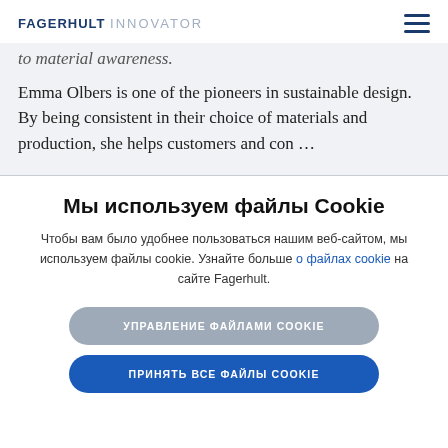FAGERHULT INNOVATOR
to material awareness.
Emma Olbers is one of the pioneers in sustainable design. By being consistent in their choice of materials and production, she helps customers and con ...
Мы используем файлы Cookie
Чтобы вам было удобнее пользоваться нашим веб-сайтом, мы используем файлы cookie. Узнайте больше о файлах cookie на сайте Fagerhult.
УПРАВЛЕНИЕ ФАЙЛАМИ COOKIE
ПРИНЯТЬ ВСЕ ФАЙЛЫ COOKIE